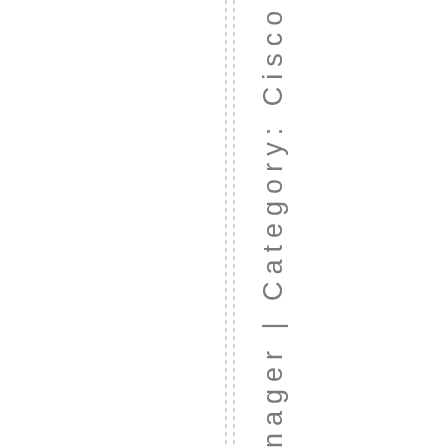nager | Category: Cisco | 2comm